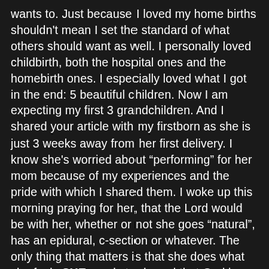wants to. Just because I loved my home births shouldn't mean I set the standard of what others should want as well. I personally loved childbirth, both the hospital ones and the homebirth ones. I especially loved what I got in the end: 5 beautiful children. Now I am expecting my first 3 grandchildren. And I shared your article with my firstborn as she is just 3 weeks away from her first delivery. I know she's worried about “performing” for her mom because of my experiences and the pride with which I shared them. I woke up this morning praying for her, that the Lord would be with her, whether or not she goes “natural”, has an epidural, c-section or whatever. The only thing that matters is that she does what she feels SHE needs to do and that God is there with her. In the end: I'll have a new grandson! ❤ Grandson #2 July and Grandson #3 August also need this encouragement. Thank you!